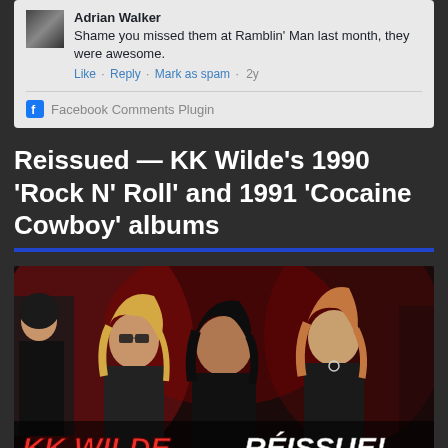Adrian Walker
Shame you missed them at Ramblin' Man last month, they were awesome.
Like · Reply · Mark as spam · 2y
Facebook Comments Plugin
Reissued — KK Wilde's 1990 'Rock N' Roll' and 1991 'Cocaine Cowboy' albums
[Figure (photo): Band photo of KK Wilde, four members with 1980s/1990s rock band styling, long hair, dark clothing. Bottom overlay text reads 'KK WILDE RÉISSUE!']